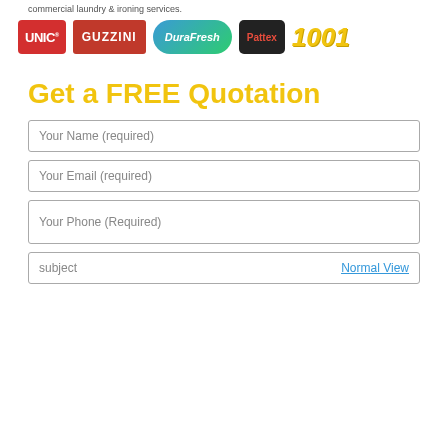commercial laundry & ironing services.
[Figure (logo): Brand logos row: UNIC, GUZZINI, DuraFresh, Pattex, 1001]
Get a FREE Quotation
Your Name (required)
Your Email (required)
Your Phone (Required)
subject | Normal View